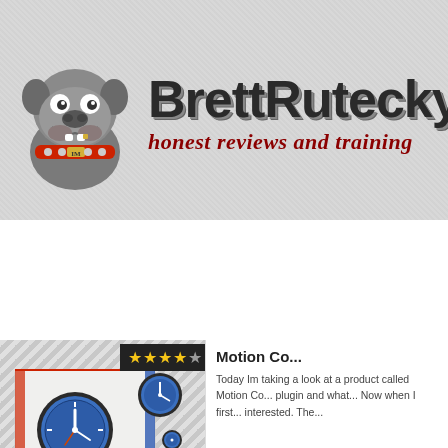[Figure (logo): BrettRutecky website header with bulldog mascot logo, site name 'BrettRutecky' in bold dark text, and tagline 'honest reviews and training' in red italic script]
BRETT'S PRODUCTS | REVIEWS | TRAINING ARTICLES | MY...
ARCHIVE FOR DECEMBER, 2014
[Figure (illustration): Article thumbnail showing animated clocks and airmail envelope graphic]
Motion Co...
Today Im taking a look at a product called Motion Co... plugin and what... Now when I first... interested. The...